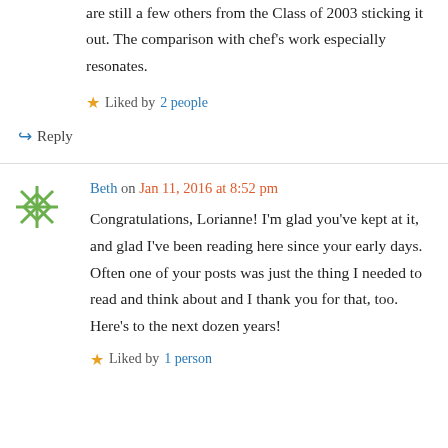You're an inspiration, Lorianne! I'm glad there are still a few others from the Class of 2003 sticking it out. The comparison with chef's work especially resonates.
Liked by 2 people
Reply
Beth on Jan 11, 2016 at 8:52 pm
Congratulations, Lorianne! I'm glad you've kept at it, and glad I've been reading here since your early days. Often one of your posts was just the thing I needed to read and think about and I thank you for that, too. Here's to the next dozen years!
Liked by 1 person